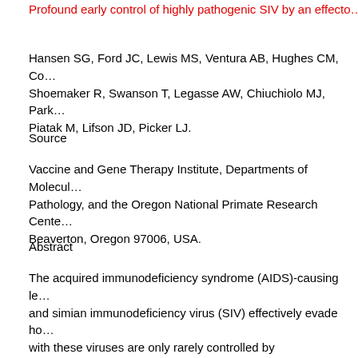Profound early control of highly pathogenic SIV by an effecto...
Hansen SG, Ford JC, Lewis MS, Ventura AB, Hughes CM, Co... Shoemaker R, Swanson T, Legasse AW, Chiuchiolo MJ, Park... Piatak M, Lifson JD, Picker LJ.
Source
Vaccine and Gene Therapy Institute, Departments of Molecul... Pathology, and the Oregon National Primate Research Cente... Beaverton, Oregon 97006, USA.
Abstract
The acquired immunodeficiency syndrome (AIDS)-causing le... and simian immunodeficiency virus (SIV) effectively evade ho... with these viruses are only rarely controlled by immunological... establishment of infection in the first few days after mucosal e... massive replication, may be more vulnerable to immune contr... include rhesus cytomegalovirus (RhCMV) vectors establish in... specific effector memory T-cell (T(EM)) responses at potentia... and stringently control highly pathogenic SIV(MAC239) infecti...